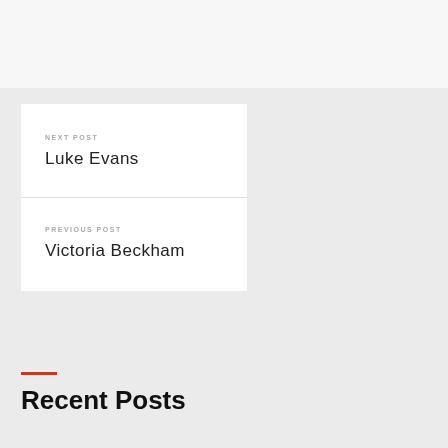NEXT POST
Luke Evans
PREVIOUS POST
Victoria Beckham
Recent Posts